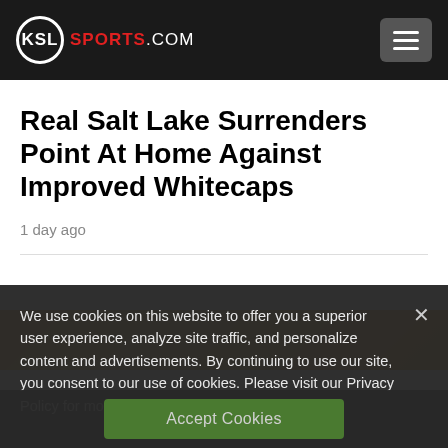KSL SPORTS.COM
Real Salt Lake Surrenders Point At Home Against Improved Whitecaps
1 day ago
[Figure (photo): Sports photo strip, orange/gold background, partially visible]
We use cookies on this website to offer you a superior user experience, analyze site traffic, and personalize content and advertisements. By continuing to use our site, you consent to our use of cookies. Please visit our Privacy Policy for more information.
Accept Cookies